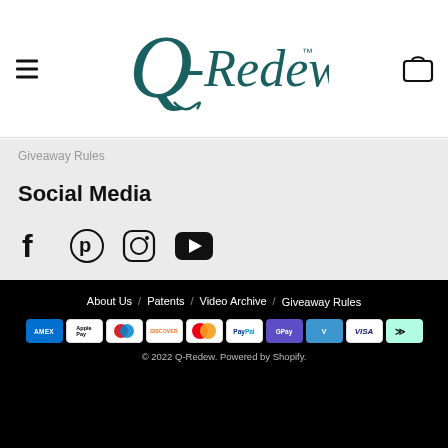Q-Redew (logo header with hamburger menu and bag icon)
Giveaway Rules
Social Media
[Figure (infographic): Social media icons: Facebook, Pinterest, Instagram, YouTube]
About Us / Patents / Video Archive / Giveaway Rules
[Figure (infographic): Payment method icons: AMEX, Apple Pay, Diners Club, Discover, Mastercard, PayPal, G Pay, Venmo, VISA, Afterpay]
© 2022 Q-Redew. Powered by Shopify.